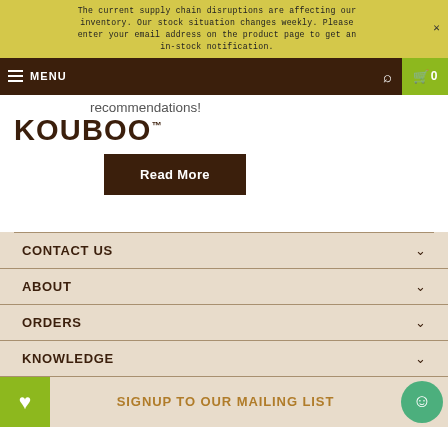The current supply chain disruptions are affecting our inventory. Our stock situation changes weekly. Please enter your email address on the product page to get an in-stock notification.
MENU
recommendations!
KOUBOO™
Read More
CONTACT US
ABOUT
ORDERS
KNOWLEDGE
SIGNUP TO OUR MAILING LIST